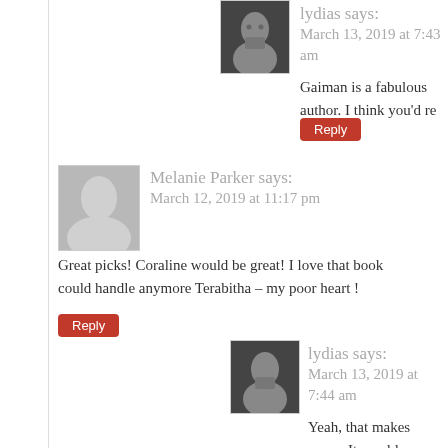[Figure (photo): Avatar photo of lydias (person holding a cup), top comment reply]
lydias says:
March 13, 2019 at 7:43 am
Gaiman is a fabulous author. I think you'd re
Reply
[Figure (photo): Generic gray avatar placeholder for Melanie Parker]
Melanie Parker says:
March 12, 2019 at 11:17 pm
Great picks! Coraline would be great! I love that book could handle anymore Terabitha – my poor heart !
Reply
[Figure (photo): Avatar photo of lydias (person holding a cup), nested reply]
lydias says:
March 13, 2019 at 7:44 am
Yeah, that makes sense. It would definitely
Reply
[Figure (photo): Avatar photo of Ashley @ What's She Reading?]
Ashley @ What's She Reading? says:
March 12, 2019 at 11:48 pm